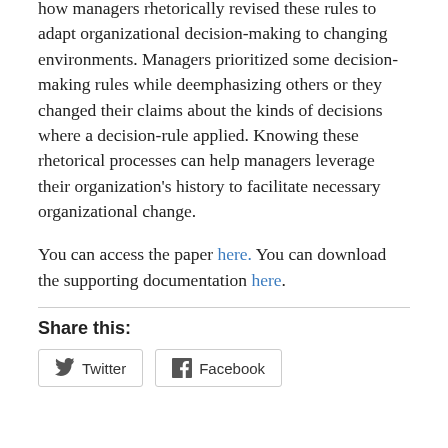how managers rhetorically revised these rules to adapt organizational decision-making to changing environments. Managers prioritized some decision-making rules while deemphasizing others or they changed their claims about the kinds of decisions where a decision-rule applied. Knowing these rhetorical processes can help managers leverage their organization's history to facilitate necessary organizational change.
You can access the paper here. You can download the supporting documentation here.
Share this: